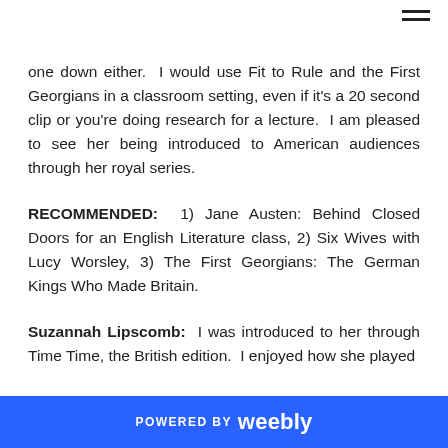one down either.  I would use Fit to Rule and the First Georgians in a classroom setting, even if it's a 20 second clip or you're doing research for a lecture.  I am pleased to see her being introduced to American audiences through her royal series.
RECOMMENDED:  1) Jane Austen: Behind Closed Doors for an English Literature class, 2) Six Wives with Lucy Worsley, 3) The First Georgians: The German Kings Who Made Britain.
Suzannah Lipscomb:  I was introduced to her through Time Time, the British edition.  I enjoyed how she played
POWERED BY weebly